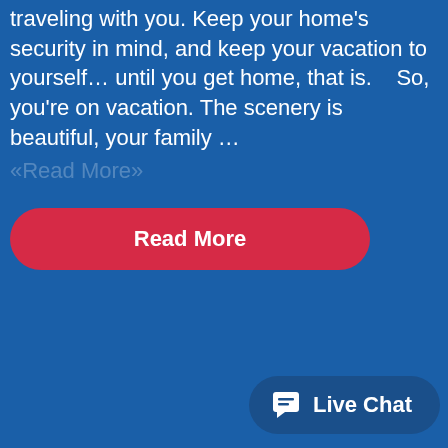traveling with you. Keep your home's security in mind, and keep your vacation to yourself… until you get home, that is.    So, you're on vacation. The scenery is beautiful, your family …
«Read More»
Read More
Live Chat